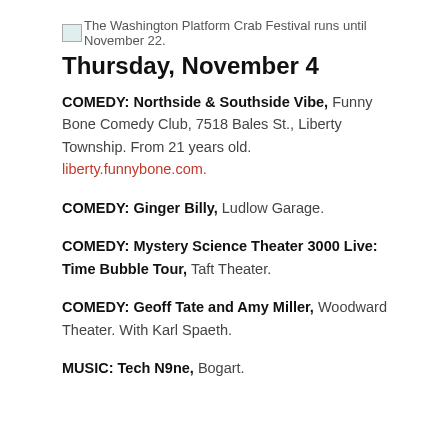[Figure (illustration): Small image placeholder icon followed by caption text: The Washington Platform Crab Festival runs until November 22.]
Thursday, November 4
COMEDY: Northside & Southside Vibe, Funny Bone Comedy Club, 7518 Bales St., Liberty Township. From 21 years old. liberty.funnybone.com.
COMEDY: Ginger Billy, Ludlow Garage.
COMEDY: Mystery Science Theater 3000 Live: Time Bubble Tour, Taft Theater.
COMEDY: Geoff Tate and Amy Miller, Woodward Theater. With Karl Spaeth.
MUSIC: Tech N9ne, Bogart.